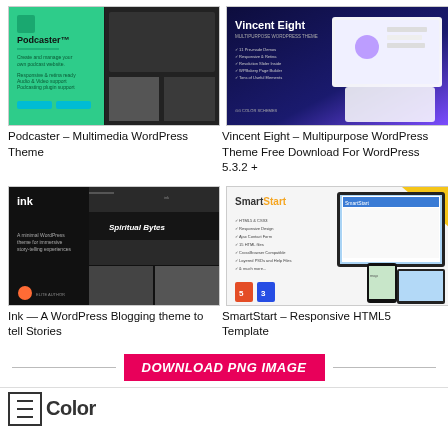[Figure (screenshot): Podcaster WordPress theme screenshot with green and dark background]
Podcaster – Multimedia WordPress Theme
[Figure (screenshot): Vincent Eight Multipurpose WordPress Theme screenshot with dark blue and purple gradient]
Vincent Eight – Multipurpose WordPress Theme Free Download For WordPress 5.3.2 +
[Figure (screenshot): Ink WordPress Blogging theme screenshot with dark background]
Ink — A WordPress Blogging theme to tell Stories
[Figure (screenshot): SmartStart Responsive HTML5 Template screenshot with white background and devices]
SmartStart – Responsive HTML5 Template
DOWNLOAD PNG IMAGE
[Figure (logo): Color logo/brand at bottom strip]